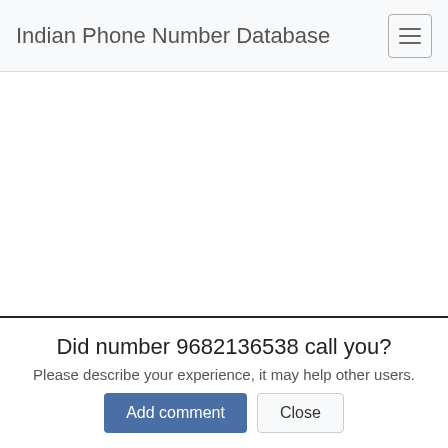Indian Phone Number Database
Did number 9682136538 call you?
Please describe your experience, it may help other users.
Add comment   Close